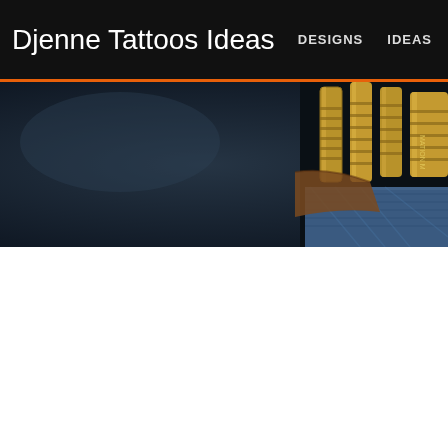Djenne Tattoos Ideas  DESIGNS  IDEAS
[Figure (photo): Dark textured background (dark navy/black mottled texture) with tattoo machine/gun equipment visible on the right side - metallic gold/brass colored tattoo machine parts and a blue/denim surface partially visible, forming a website banner image.]